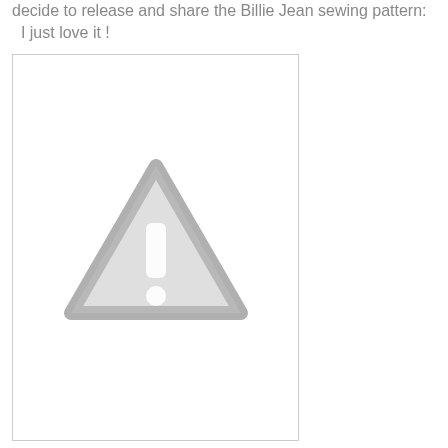decide to release and share the Billie Jean sewing pattern: I just love it !
[Figure (other): Placeholder image with a grey warning/caution triangle icon (exclamation mark inside triangle) centered on a white background with a light grey border]